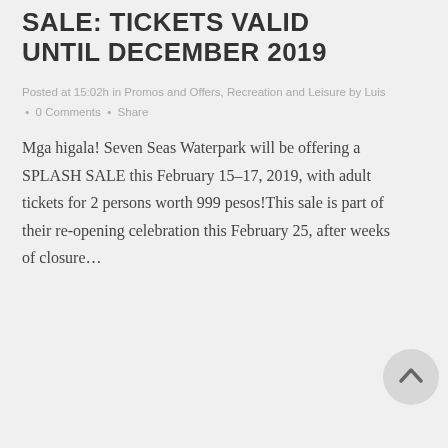SALE: TICKETS VALID UNTIL DECEMBER 2019
Posted at 15:02h in Promos and Offers, Recreation and Leisure by Luis • 0 Comments • Share
Mga higala! Seven Seas Waterpark will be offering a SPLASH SALE this February 15–17, 2019, with adult tickets for 2 persons worth 999 pesos!This sale is part of their re-opening celebration this February 25, after weeks of closure…